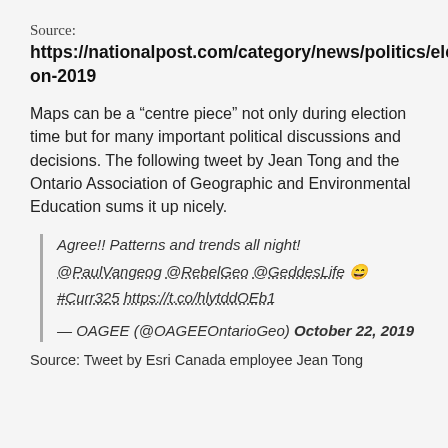Source:
https://nationalpost.com/category/news/politics/election-2019
Maps can be a “centre piece” not only during election time but for many important political discussions and decisions. The following tweet by Jean Tong and the Ontario Association of Geographic and Environmental Education sums it up nicely.
Agree!! Patterns and trends all night! @PaulVangeog @RebelGeo @GeddesLife 😄️ #Curr325 https://t.co/hlytddOEb1
— OAGEE (@OAGEEOntarioGeo) October 22, 2019
Source: Tweet by Esri Canada employee Jean Tong